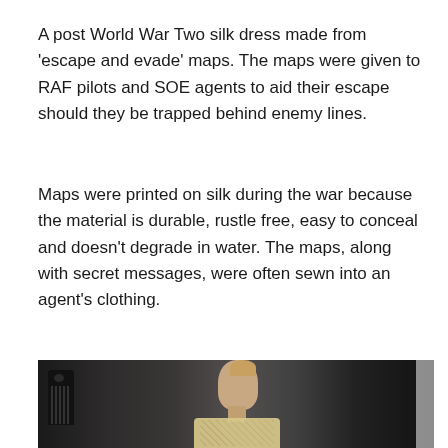A post World War Two silk dress made from 'escape and evade' maps. The maps were given to RAF pilots and SOE agents to aid their escape should they be trapped behind enemy lines.
Maps were printed on silk during the war because the material is durable, rustle free, easy to conceal and doesn't degrade in water. The maps, along with secret messages, were often sewn into an agent's clothing.
[Figure (photo): A mannequin or model wearing a light-coloured (cream/yellow) silk dress with map patterns, photographed in front of dark curtains. A decorative comb is visible in the background to the left.]